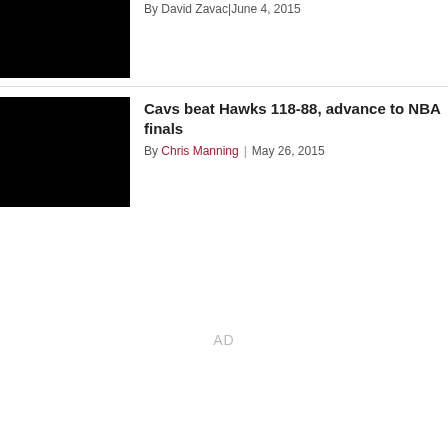By David Zavac | June 4, 2015
[Figure (photo): Black image thumbnail for first article]
Cavs beat Hawks 118-88, advance to NBA finals
By Chris Manning | May 26, 2015
[Figure (photo): Black image thumbnail for second article]
AD